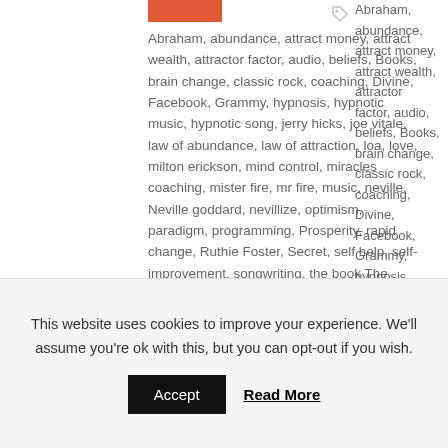Abraham, abundance, attract money, attract wealth, attractor factor, audio, beliefs, Books, brain change, classic rock, coaching, Divine, Facebook, Grammy, hypnosis, hypnotic music, hypnotic song, jerry hicks, joe vitale, law of abundance, law of attraction, loa, love, milton erickson, mind control, miracles coaching, mister fire, mr fire, music, neville, Neville goddard, nevillize, optimism, paradigm, programming, Prosperity, rapid change, Ruthie Foster, Secret, self help, self-improvement, songwriting, the book The Secret, the movie The Secret, zero limits
What I teach is that when you change your inner beliefs, your
This website uses cookies to improve your experience. We'll assume you're ok with this, but you can opt-out if you wish.